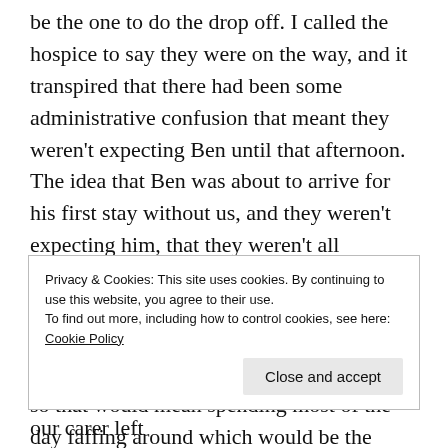...be the one to do the drop off. I called the hospice to say they were on the way, and it transpired that there had been some administrative confusion that meant they weren't expecting Ben until that afternoon. The idea that Ben was about to arrive for his first stay without us, and they weren't expecting him, that they weren't all standing around anticipating the arrival of Ben, made me feel so sad and unsure. Should I call James and get them to turn back? The journey can take up to an hour so that would mean spending most of the day faffing around which would be the exact opposite of respite. As
Privacy & Cookies: This site uses cookies. By continuing to use this website, you agree to their use.
To find out more, including how to control cookies, see here: Cookie Policy
seemed alright, and by the time James and our carer left